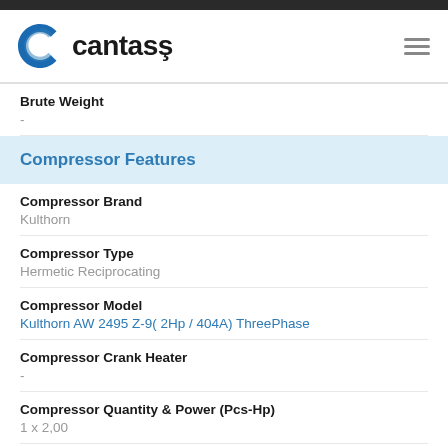[Figure (logo): Cantaş company logo with blue C symbol and black cantaş text]
Brute Weight
-
Compressor Features
Compressor Brand
Kulthorn
Compressor Type
Hermetic Reciprocating
Compressor Model
Kulthorn AW 2495 Z-9( 2Hp / 404A) ThreePhase
Compressor Crank Heater
-
Compressor Quantity & Power (Pcs-Hp)
1 x 2,00